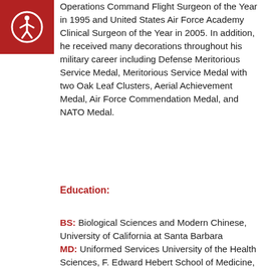[Figure (logo): Red square with white accessibility icon (person in circle)]
Operations Command Flight Surgeon of the Year in 1995 and United States Air Force Academy Clinical Surgeon of the Year in 2005. In addition, he received many decorations throughout his military career including Defense Meritorious Service Medal, Meritorious Service Medal with two Oak Leaf Clusters, Aerial Achievement Medal, Air Force Commendation Medal, and NATO Medal.
Education:
BS: Biological Sciences and Modern Chinese, University of California at Santa Barbara
MD: Uniformed Services University of the Health Sciences, F. Edward Hebert School of Medicine, Bethesda, MD
Residency: Orthopedic Surgery, SAUSHEC/Wilford Hall Medical Center, Lackland AFB, San Antonio, Texas
Fellowship: Hand and Microvascular